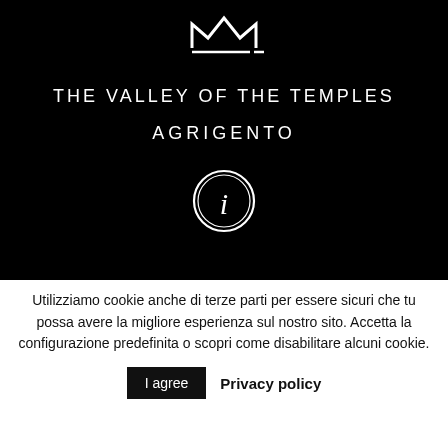[Figure (logo): Angular/geometric logo icon in white on black background, resembling stylized letters with a crown-like shape and underscore]
THE VALLEY OF THE TEMPLES
AGRIGENTO
[Figure (illustration): White circle with double ring containing a lowercase italic 'i' (information icon)]
Utilizziamo cookie anche di terze parti per essere sicuri che tu possa avere la migliore esperienza sul nostro sito. Accetta la configurazione predefinita o scopri come disabilitare alcuni cookie.
I agree  Privacy policy